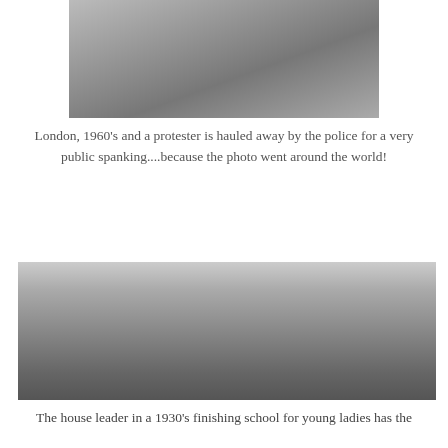[Figure (photo): Black and white photograph (cropped top portion visible) showing a person being restrained, London 1960s scene]
London, 1960's and a protester is hauled away by the police for a very public spanking....because the photo went around the world!
[Figure (photo): Black and white photograph of a 1930s finishing school scene showing a house leader and young women in white dresses in an elegant room]
The house leader in a 1930's finishing school for young ladies has the